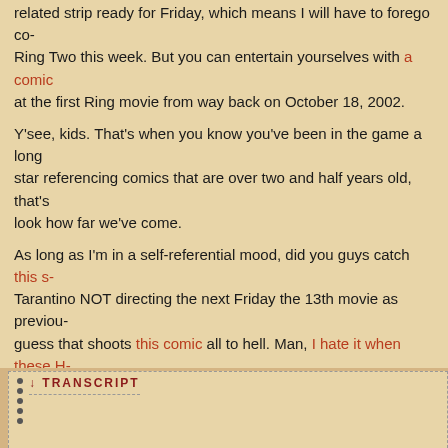related strip ready for Friday, which means I will have to forego co- Ring Two this week. But you can entertain yourselves with a comic at the first Ring movie from way back on October 18, 2002.
Y'see, kids. That's when you know you've been in the game a long star referencing comics that are over two and half years old, that's look how far we've come.
As long as I'm in a self-referential mood, did you guys catch this s- Tarantino NOT directing the next Friday the 13th movie as previou- guess that shoots this comic all to hell. Man, I hate it when these H- don't pan out.
Totally switching gears now, can I say something really quick abou- know what kind of awesome regimen Fenris is operating under, bu- back a few weeks ago and started doing the comic full-time, it has ever. The art is better. The coloring is better. The storyline is excel-
I'm putting my cards out on the table. I'm jealous, man. Freaking "- popular-as-Penny-Arcade" kind of jealous.
This is not lip service. Read Aikida now.
Seacrest, out!
↓ TRANSCRIPT